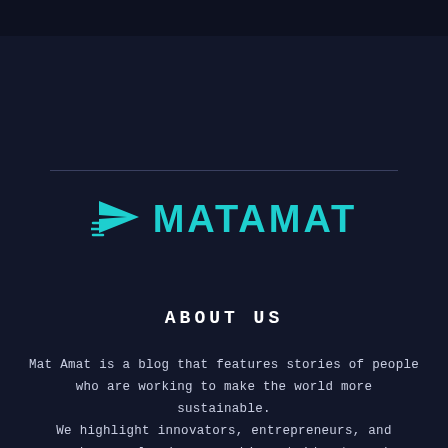[Figure (logo): Matamat logo: a teal paper airplane icon followed by the word MATAMAT in teal uppercase bold letters]
ABOUT US
Mat Amat is a blog that features stories of people who are working to make the world more sustainable. We highlight innovators, entrepreneurs, and everyday people who are making strides towards a